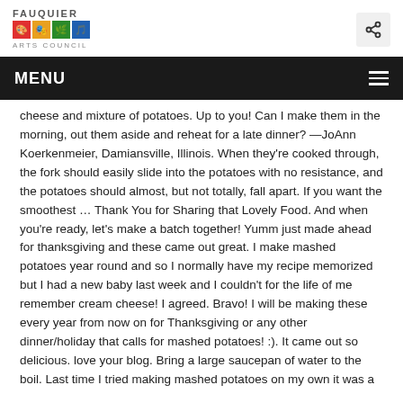FAUQUIER ARTS COUNCIL
MENU
cheese and mixture of potatoes. Up to you! Can I make them in the morning, out them aside and reheat for a late dinner? —JoAnn Koerkenmeier, Damiansville, Illinois. When they're cooked through, the fork should easily slide into the potatoes with no resistance, and the potatoes should almost, but not totally, fall apart. If you want the smoothest ... Thank You for Sharing that Lovely Food. And when you're ready, let's make a batch together! Yumm just made ahead for thanksgiving and these came out great. I make mashed potatoes year round and so I normally have my recipe memorized but I had a new baby last week and I couldn't for the life of me remember cream cheese! I agreed. Bravo! I will be making these every year from now on for Thanksgiving or any other dinner/holiday that calls for mashed potatoes! :). It came out so delicious. love your blog. Bring a large saucepan of water to the boil. Last time I tried making mashed potatoes on my own it was a